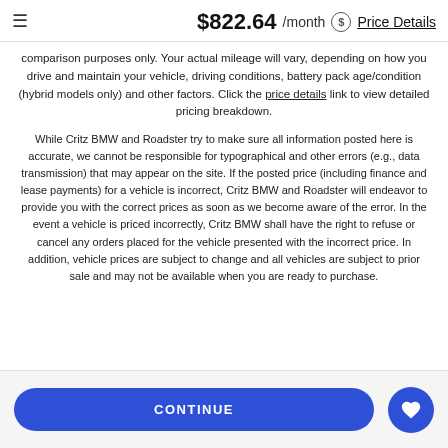$822.64 /month Price Details
comparison purposes only. Your actual mileage will vary, depending on how you drive and maintain your vehicle, driving conditions, battery pack age/condition (hybrid models only) and other factors. Click the price details link to view detailed pricing breakdown.
While Critz BMW and Roadster try to make sure all information posted here is accurate, we cannot be responsible for typographical and other errors (e.g., data transmission) that may appear on the site. If the posted price (including finance and lease payments) for a vehicle is incorrect, Critz BMW and Roadster will endeavor to provide you with the correct prices as soon as we become aware of the error. In the event a vehicle is priced incorrectly, Critz BMW shall have the right to refuse or cancel any orders placed for the vehicle presented with the incorrect price. In addition, vehicle prices are subject to change and all vehicles are subject to prior sale and may not be available when you are ready to purchase.
CONTINUE